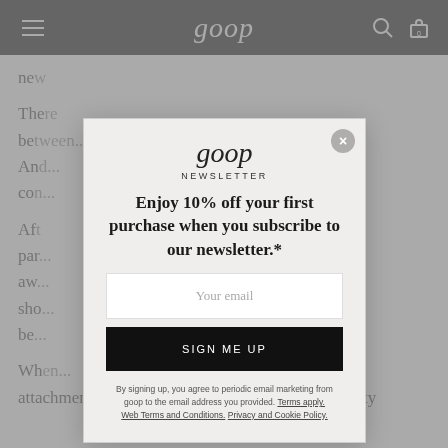goop
The... were between... r. An... con...
Aft... par... aw... sho... be...
Wh... attachment to that initial phase of lightning sexuality
[Figure (screenshot): goop newsletter subscription modal popup with 10% off offer, email input field, and SIGN ME UP button on a dimmed background]
goop
NEWSLETTER
Enjoy 10% off your first purchase when you subscribe to our newsletter.*
Your email
SIGN ME UP
By signing up, you agree to periodic email marketing from goop to the email address you provided. Terms apply. Web Terms and Conditions. Privacy and Cookie Policy.